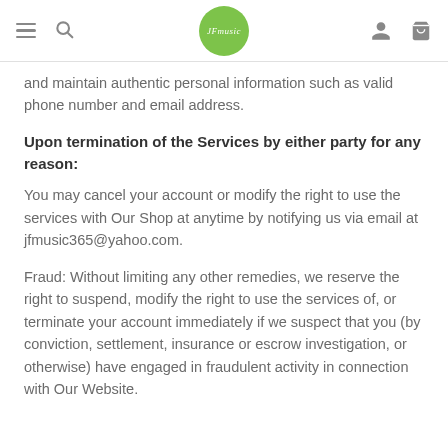JFmusic365 website header navigation
and maintain authentic personal information such as valid phone number and email address.
Upon termination of the Services by either party for any reason:
You may cancel your account or modify the right to use the services with Our Shop at anytime by notifying us via email at jfmusic365@yahoo.com.
Fraud: Without limiting any other remedies, we reserve the right to suspend, modify the right to use the services of, or terminate your account immediately if we suspect that you (by conviction, settlement, insurance or escrow investigation, or otherwise) have engaged in fraudulent activity in connection with Our Website.